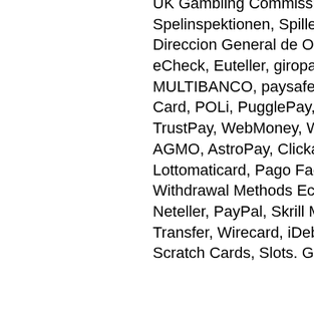UK Gambling Commission, Malta Gaming Authority, Spelinspektionen, Spillemyndigheden, Agenzia Dogane Monopoli, Direccion General de Ordenacion del Juego. Payment Methods eCheck, Euteller, giropay, iDEAL, Maestro, MasterCard, MULTIBANCO, paysafecard, PayviaPhone, Players Rewards Card, POLi, PugglePay, QIWI, Quick Pesa, SOFORT Banking, TrustPay, WebMoney, Wire Transfer, Wirecard, Zimpler, 4B, AGMO, AstroPay, ClickandBuy, easydebit, Euroset, INPAY, JCB, Lottomaticard, Pago Facil, PayFast, Teleingreso, Wallet One, Withdrawal Methods EcoPayz EcoCard, eKonto, MasterCard, Neteller, PayPal, Skrill Moneybookers, Visa, Visa Electron, Wire Transfer, Wirecard, iDebit. Game Types Poker Games, Roulette, Scratch Cards, Slots. Game Providers Blueprint Gaming,